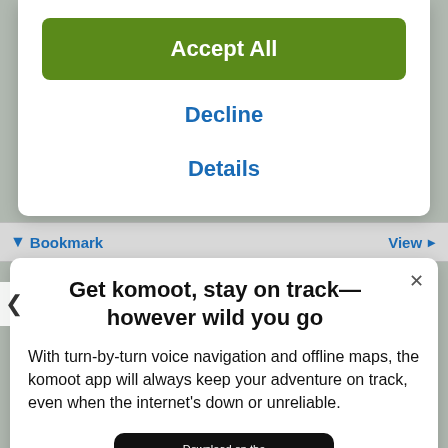[Figure (screenshot): Cookie consent modal overlay with Accept All button (green), Decline and Details links (blue) on white background]
Bookmark
View >
Get komoot, stay on track—however wild you go
With turn-by-turn voice navigation and offline maps, the komoot app will always keep your adventure on track, even when the internet's down or unreliable.
[Figure (logo): Download on the App Store button (black rounded rectangle with Apple logo)]